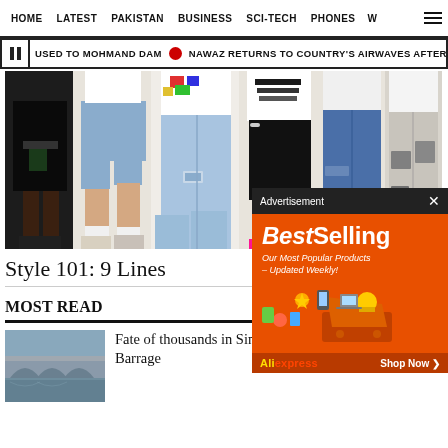HOME  LATEST  PAKISTAN  BUSINESS  SCI-TECH  PHONES  W
USED TO MOHMAND DAM  NAWAZ RETURNS TO COUNTRY'S AIRWAVES AFTER TH
[Figure (photo): Fashion photo showing multiple people from waist down wearing various styles of bottoms including black skirt, denim shorts, ripped jeans, biker shorts, blue jeans, and distressed jeans on white background]
Style 101: 9 Lines
MOST READ
[Figure (photo): Thumbnail photo of Sukkur Barrage, showing arched bridge structure over water]
Fate of thousands in Sindh lies with colonial-era Sukkur Barrage
[Figure (advertisement): BestSelling advertisement from AliExpress on orange background with shopping cart icons and text 'Our Most Popular Products - Updated Weekly! Shop Now']